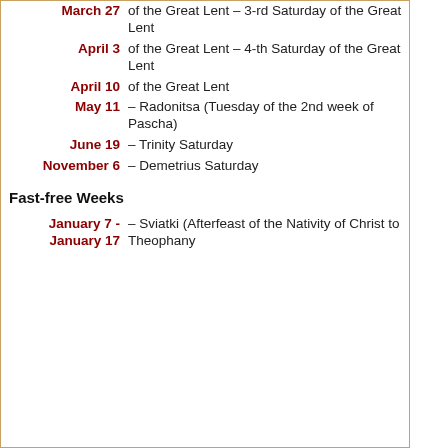| Date | Description |
| --- | --- |
| March 27 | of the Great Lent – 3-rd Saturday of the Great Lent |
| April 3 | of the Great Lent – 4-th Saturday of the Great Lent |
| April 10 | of the Great Lent – Radonitsa (Tuesday of the 2nd week of Pascha) |
| May 11 | – Radonitsa (Tuesday of the 2nd week of Pascha) |
| June 19 | – Trinity Saturday |
| November 6 | – Demetrius Saturday |
Fast-free Weeks
| Date | Description |
| --- | --- |
| January 7 - January 17 | – Sviatki (Afterfeast of the Nativity of Christ to Theophany) |